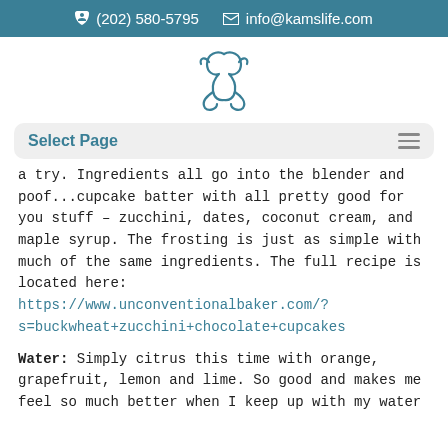(202) 580-5795   info@kamslife.com
[Figure (logo): Decorative script logo in teal/dark cyan color for kamslife.com]
Select Page
a try.  Ingredients all go into the blender and poof...cupcake batter with all pretty good for you stuff – zucchini, dates, coconut cream, and maple syrup.  The frosting is just as simple with much of the same ingredients.  The full recipe is located here: https://www.unconventionalbaker.com/?s=buckwheat+zucchini+chocolate+cupcakes
Water:  Simply citrus this time with orange, grapefruit, lemon and lime.  So good and makes me feel so much better when I keep up with my water